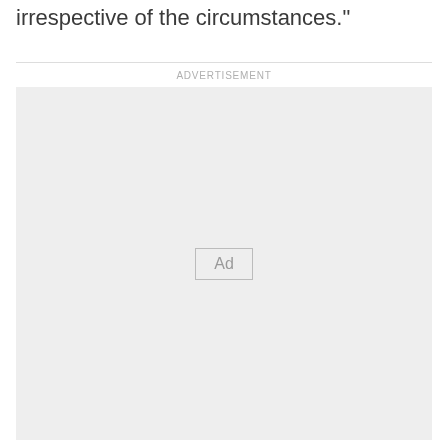irrespective of the circumstances."
ADVERTISEMENT
[Figure (other): Advertisement placeholder box with 'Ad' label in center]